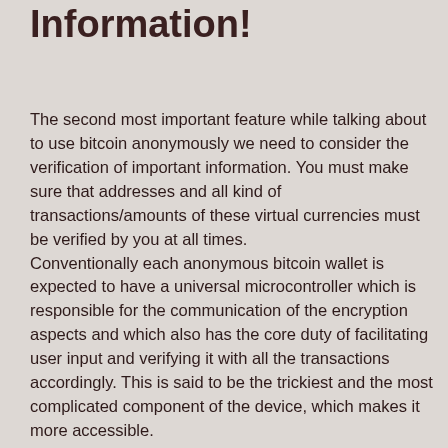Information!
The second most important feature while talking about to use bitcoin anonymously we need to consider the verification of important information. You must make sure that addresses and all kind of transactions/amounts of these virtual currencies must be verified by you at all times.
Conventionally each anonymous bitcoin wallet is expected to have a universal microcontroller which is responsible for the communication of the encryption aspects and which also has the core duty of facilitating user input and verifying it with all the transactions accordingly. This is said to be the trickiest and the most complicated component of the device, which makes it more accessible.
Now some previous versions of wallets were seen to be lacking this component which made them more vulnerable but the recent versions of these anonymous bitcoin wallets have thankfully improved this issue and have solved the problem of input integration and verification by the easily readable screens which now display all the information required on your desktop system or your mobile phone depending on wherever